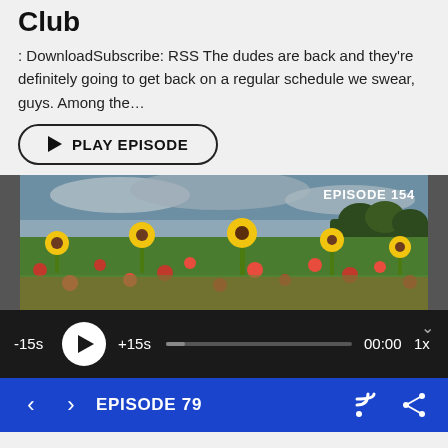Club
: DownloadSubscribe: RSS The dudes are back and they're definitely going to get back on a regular schedule we swear, guys. Among the…
[Figure (screenshot): Play Episode button with triangle play icon and rounded pill border]
[Figure (photo): Sunflower and poppy field under overcast sky with 'EPISODE 154' overlay text in top right corner]
[Figure (screenshot): Audio player bar with dark background showing -15s, play button, +15s, progress bar, 00:00 timestamp, and 1x speed control]
< > EPISODE 79